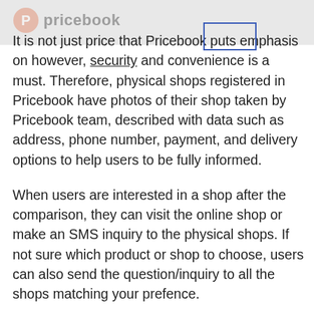pricebook
It is not just price that Pricebook puts emphasis on however, security and convenience is a must. Therefore, physical shops registered in Pricebook have photos of their shop taken by Pricebook team, described with data such as address, phone number, payment, and delivery options to help users to be fully informed.

When users are interested in a shop after the comparison, they can visit the online shop or make an SMS inquiry to the physical shops. If not sure which product or shop to choose, users can also send the question/inquiry to all the shops matching your prefence.